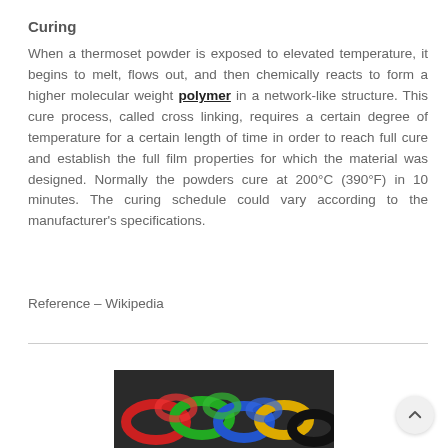Curing
When a thermoset powder is exposed to elevated temperature, it begins to melt, flows out, and then chemically reacts to form a higher molecular weight polymer in a network-like structure. This cure process, called cross linking, requires a certain degree of temperature for a certain length of time in order to reach full cure and establish the full film properties for which the material was designed. Normally the powders cure at 200°C (390°F) in 10 minutes. The curing schedule could vary according to the manufacturer's specifications.
Reference – Wikipedia
[Figure (photo): Photo of colorful polymer rings or rubber O-rings in red, green, blue, yellow, and black colors]